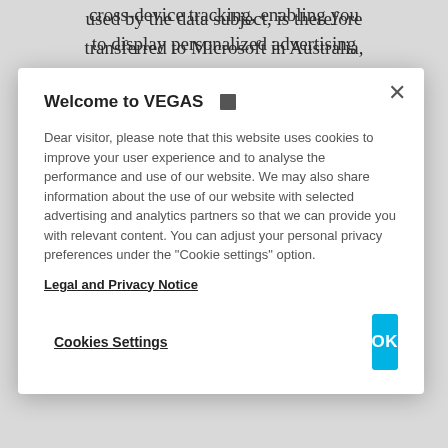used by the data subject, is therefore transferred to Microsoft in Australia, Austria, Brazil, Canada, Finland, France, Germany, Hong Kong, India
Welcome to VEGAS 🎰
Dear visitor, please note that this website uses cookies to improve your user experience and to analyse the performance and use of our website. We may also share information about the use of our website with selected advertising and analytics partners so that we can provide you with relevant content. You can adjust your personal privacy preferences under the "Cookie settings" option.
Legal and Privacy Notice
Cookies Settings
OK
cross-device tracking, enabling you to display personalized advertising